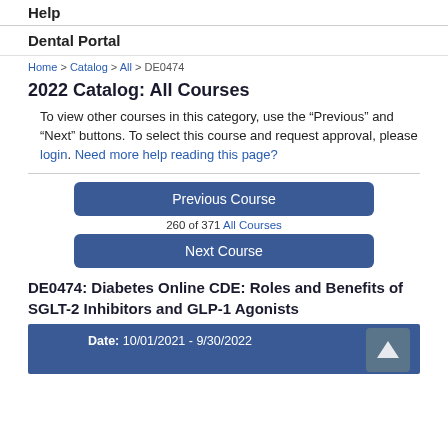Help
Dental Portal
Home > Catalog > All > DE0474
2022 Catalog: All Courses
To view other courses in this category, use the "Previous" and "Next" buttons. To select this course and request approval, please login. Need more help reading this page?
[Figure (other): Navigation buttons: Previous Course and Next Course, with counter '260 of 371 All Courses']
DE0474: Diabetes Online CDE: Roles and Benefits of SGLT-2 Inhibitors and GLP-1 Agonists
Date: 10/01/2021 - 9/30/2022